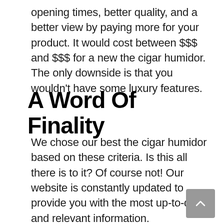opening times, better quality, and a better view by paying more for your product. It would cost between $$$ and $$$ for a new the cigar humidor. The only downside is that you wouldn't have some luxury features.
A Word Of Finality
We chose our best the cigar humidor based on these criteria. Is this all there is to it? Of course not! Our website is constantly updated to provide you with the most up-to-date and relevant information.